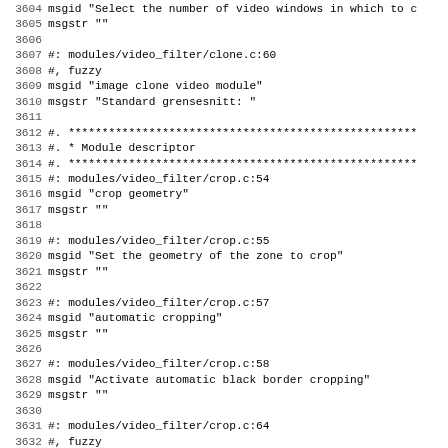3604 msgid "Select the number of video windows in which to c
3605 msgstr ""
3606 
3607 #: modules/video_filter/clone.c:60
3608 #, fuzzy
3609 msgid "image clone video module"
3610 msgstr "Standard grensesnitt: "
3611 
3612 #. ****************************************************
3613 #. * Module descriptor
3614 #. ****************************************************
3615 #: modules/video_filter/crop.c:54
3616 msgid "crop geometry"
3617 msgstr ""
3618 
3619 #: modules/video_filter/crop.c:55
3620 msgid "Set the geometry of the zone to crop"
3621 msgstr ""
3622 
3623 #: modules/video_filter/crop.c:57
3624 msgid "automatic cropping"
3625 msgstr ""
3626 
3627 #: modules/video_filter/crop.c:58
3628 msgid "Activate automatic black border cropping"
3629 msgstr ""
3630 
3631 #: modules/video_filter/crop.c:64
3632 #, fuzzy
3633 msgid "image crop video module"
3634 msgstr "Standard grensesnitt: "
3635